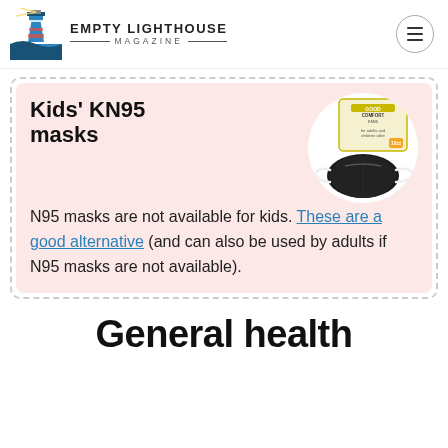Empty Lighthouse Magazine
Kids' KN95 masks
N95 masks are not available for kids. These are a good alternative (and can also be used by adults if N95 masks are not available).
[Figure (photo): Product image of Kids KN95 masks box and a black KN95 mask on a white circular background]
General health